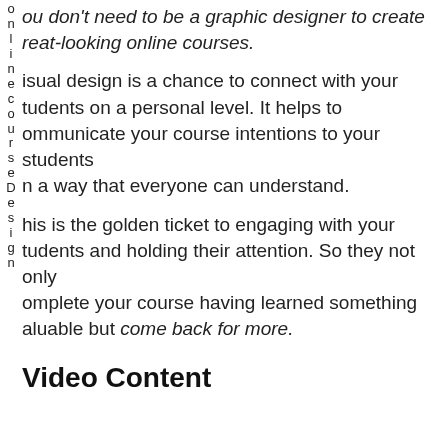You don't need to be a graphic designer to create great-looking online courses.
Visual design is a chance to connect with your students on a personal level. It helps to communicate your course intentions to your students in a way that everyone can understand.
This is the golden ticket to engaging with your students and holding their attention. So they not only complete your course having learned something valuable but come back for more.
Video Content